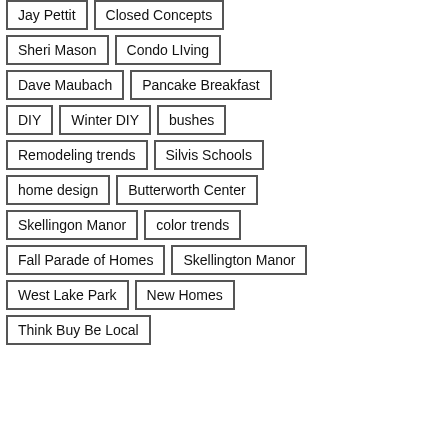Jay Pettit
Closed Concepts
Sheri Mason
Condo LIving
Dave Maubach
Pancake Breakfast
DIY
Winter DIY
bushes
Remodeling trends
Silvis Schools
home design
Butterworth Center
Skellingon Manor
color trends
Fall Parade of Homes
Skellington Manor
West Lake Park
New Homes
Think Buy Be Local